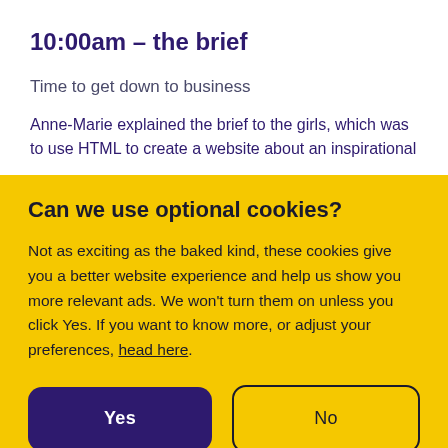10:00am - the brief
Time to get down to business
Anne-Marie explained the brief to the girls, which was to use HTML to create a website about an inspirational
Can we use optional cookies?
Not as exciting as the baked kind, these cookies give you a better website experience and help us show you more relevant ads. We won’t turn them on unless you click Yes. If you want to know more, or adjust your preferences, head here.
Yes | No